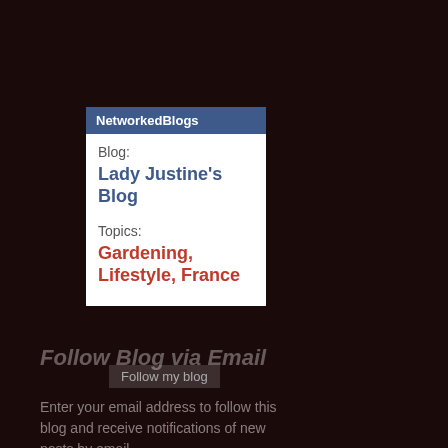NetworkedBlogs
Blog:
Lady Justine's Blog
Topics:
Gardening, Lifestyle, France
Follow my blog
Follow Blog via Email
Enter your email address to follow this blog and receive notifications of new posts by email.